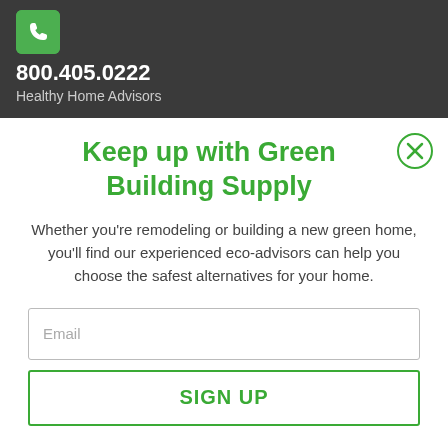[Figure (logo): Green phone icon on dark background header bar]
800.405.0222
Healthy Home Advisors
[Figure (illustration): Close (X) button circle in top right of modal]
Keep up with Green Building Supply
Whether you're remodeling or building a new green home, you'll find our experienced eco-advisors can help you choose the safest alternatives for your home.
Email
SIGN UP